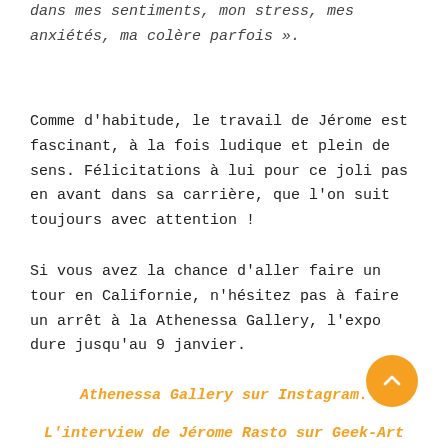dans mes sentiments, mon stress, mes anxiétés, ma colère parfois ».
Comme d'habitude, le travail de Jérome est fascinant, à la fois ludique et plein de sens. Félicitations à lui pour ce joli pas en avant dans sa carrière, que l'on suit toujours avec attention !
Si vous avez la chance d'aller faire un tour en Californie, n'hésitez pas à faire un arrêt à la Athenessa Gallery, l'expo dure jusqu'au 9 janvier.
Athenessa Gallery sur Instagram.
L'interview de Jérome Rasto sur Geek-Art